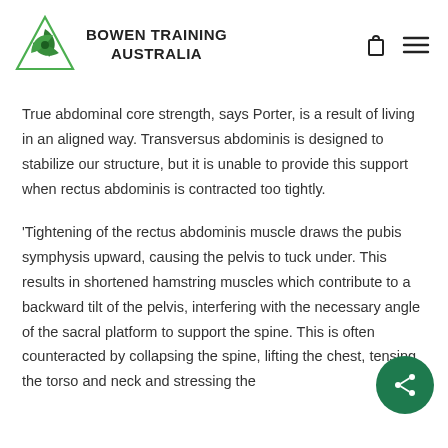BOWEN TRAINING AUSTRALIA
True abdominal core strength, says Porter, is a result of living in an aligned way. Transversus abdominis is designed to stabilize our structure, but it is unable to provide this support when rectus abdominis is contracted too tightly.
‘Tightening of the rectus abdominis muscle draws the pubis symphysis upward, causing the pelvis to tuck under. This results in shortened hamstring muscles which contribute to a backward tilt of the pelvis, interfering with the necessary angle of the sacral platform to support the spine. This is often counteracted by collapsing the spine, lifting the chest, tensing the torso and neck and stressing the